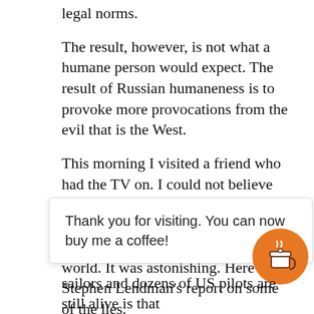legal norms.
The result, however, is not what a humane person would expect. The result of Russian humaneness is to provoke more provocations from the evil that is the West.
This morning I visited a friend who had the TV on. I could not believe the lies that Trump, members of his government, and the presstitutes were telling Americans and the world. It was astonishing. Here is Stephen Lendman's report on some of the lies. http://stephenlendman.org/2018/04/pentagon-lies-
Thank you for visiting. You can now buy me a coffee!
sailors and dozens of US pilots are still alive is that